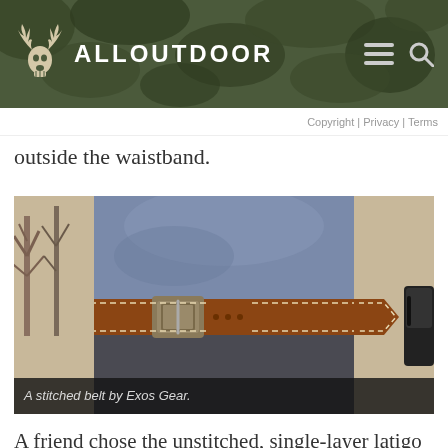ALLOUTDOOR
Copyright | Privacy | Terms
outside the waistband.
[Figure (photo): Close-up of a person wearing a brown stitched leather belt with a silver buckle over dark pants, with a black holster visible on the right side. Bare trees visible in background.]
A stitched belt by Exos Gear.
A friend chose the unstitched, single-layer latigo belt and has used it for EDC and range wear for a couple of years. The belt has darkened with time as leather will